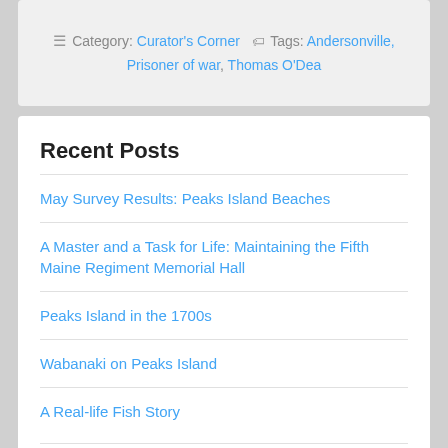Category: Curator's Corner  Tags: Andersonville, Prisoner of war, Thomas O'Dea
Recent Posts
May Survey Results: Peaks Island Beaches
A Master and a Task for Life: Maintaining the Fifth Maine Regiment Memorial Hall
Peaks Island in the 1700s
Wabanaki on Peaks Island
A Real-life Fish Story
Categories